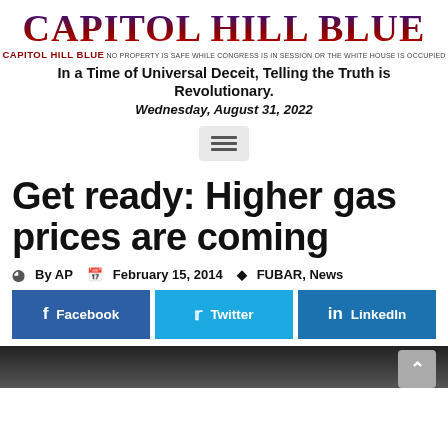CAPITOL HILL BLUE
CAPITOL HILL BLUE NO PROPERTY IS SAFE WHILE CONGRESS IS IN SESSION OR THE WHITE HOUSE IS OCCUPIED
In a Time of Universal Deceit, Telling the Truth is Revolutionary.
Wednesday, August 31, 2022
[Figure (other): Hamburger menu icon button]
Get ready: Higher gas prices are coming
By AP  February 15, 2014  FUBAR, News
[Figure (other): Social share buttons: Facebook, Twitter, LinkedIn]
[Figure (photo): Partial article image at bottom of page, dark tones]